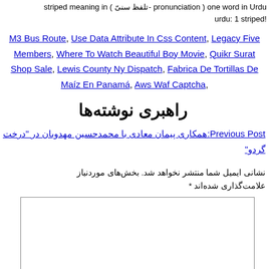striped meaning in ( تلفظ سنیٕ- pronunciation ) one word in Urdu
urdu: 1 striped!
M3 Bus Route, Use Data Attribute In Css Content, Legacy Five Members, Where To Watch Beautiful Boy Movie, Quikr Surat Shop Sale, Lewis County Ny Dispatch, Fabrica De Tortillas De Maíz En Panamá, Aws Waf Captcha,
راهبری نوشته‌ها
Previous Post:همکاری پیمان معادی با محمدحسین مهدوبان در "درخت گردو"
نشانی ایمیل شما منتشر نخواهد شد. بخش‌های موردنیاز علامت‌گذاری شده‌اند *
دیدگاه